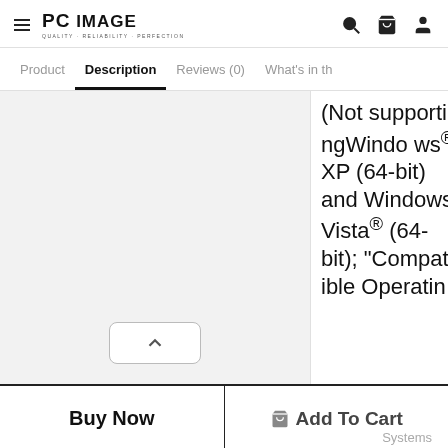PC IMAGE — QUALITY · RELIABILITY · PERFECTION [navigation icons: search, cart, user]
Product  Description  Reviews (0)  What's in th
[Figure (screenshot): Light gray product image panel with a scroll-up button at the bottom center]
(Not supportingWindows® XP (64-bit) and Windows Vista® (64-bit); "Compatible Operatin g Systems are not
Buy Now
Add To Cart  Systems